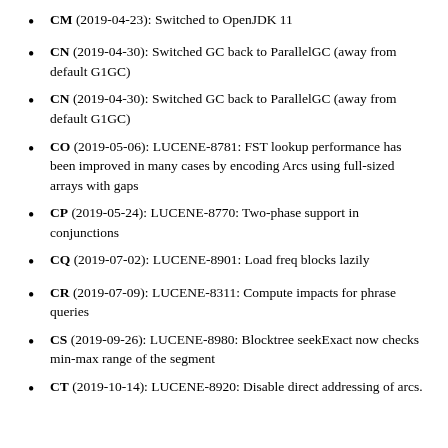CM (2019-04-23): Switched to OpenJDK 11
CN (2019-04-30): Switched GC back to ParallelGC (away from default G1GC)
CN (2019-04-30): Switched GC back to ParallelGC (away from default G1GC)
CO (2019-05-06): LUCENE-8781: FST lookup performance has been improved in many cases by encoding Arcs using full-sized arrays with gaps
CP (2019-05-24): LUCENE-8770: Two-phase support in conjunctions
CQ (2019-07-02): LUCENE-8901: Load freq blocks lazily
CR (2019-07-09): LUCENE-8311: Compute impacts for phrase queries
CS (2019-09-26): LUCENE-8980: Blocktree seekExact now checks min-max range of the segment
CT (2019-10-14): LUCENE-8920: Disable direct addressing of arcs.